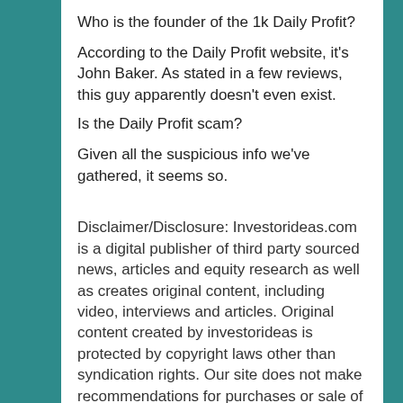Who is the founder of the 1k Daily Profit?
According to the Daily Profit website, it's John Baker. As stated in a few reviews, this guy apparently doesn't even exist.
Is the Daily Profit scam?
Given all the suspicious info we've gathered, it seems so.
Disclaimer/Disclosure: Investorideas.com is a digital publisher of third party sourced news, articles and equity research as well as creates original content, including video, interviews and articles. Original content created by investorideas is protected by copyright laws other than syndication rights. Our site does not make recommendations for purchases or sale of stocks, services or products. Nothing on our sites should be construed as an offer or solicitation to buy or sell products or